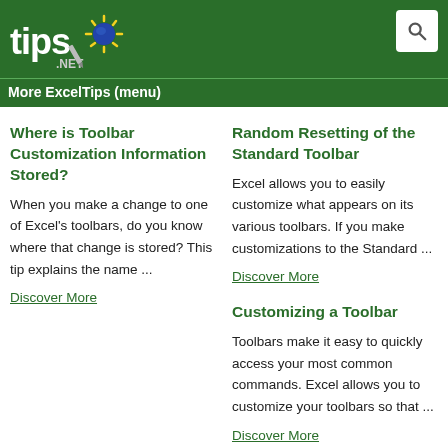tips.NET | More ExcelTips (menu)
Where is Toolbar Customization Information Stored?
When you make a change to one of Excel's toolbars, do you know where that change is stored? This tip explains the name ...
Discover More
Random Resetting of the Standard Toolbar
Excel allows you to easily customize what appears on its various toolbars. If you make customizations to the Standard ...
Discover More
Customizing a Toolbar
Toolbars make it easy to quickly access your most common commands. Excel allows you to customize your toolbars so that ...
Discover More